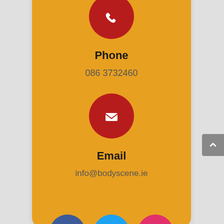[Figure (infographic): Red circle with white phone icon]
Phone
086 3732460
[Figure (infographic): Red circle with white envelope/email icon]
Email
info@bodyscene.ie
[Figure (infographic): Social media icons row: Facebook (blue circle with f), Twitter (cyan circle with bird), Instagram (pink circle with camera)]